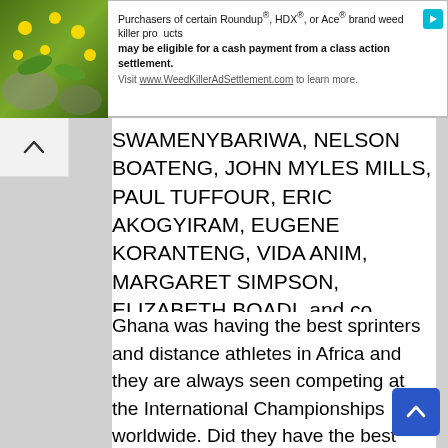[Figure (screenshot): Advertisement banner: image of yellow flowers on left, text on right: 'Purchasers of certain Roundup®, HDX®, or Ace® brand weed killer products may be eligible for a cash payment from a class action settlement. Visit www.WeedKillerAdSettlement.com to learn more.' with play/arrow icon in top right corner.]
SWAMENYBARIWA, NELSON BOATENG, JOHN MYLES MILLS, PAUL TUFFOUR, ERIC AKOGYIRAM, EUGENE KORANTENG, VIDA ANIM, MARGARET SIMPSON, ELIZABETH BOADI, and co.
Ghana was having the best sprinters and distance athletes in Africa and they are always seen competing at the International Championships worldwide. Did they have the best chance? It's not clear and no evidence proving that they were treated like the footballers.
Because football has been the number sport in Ghana and the kind of treatment given to them